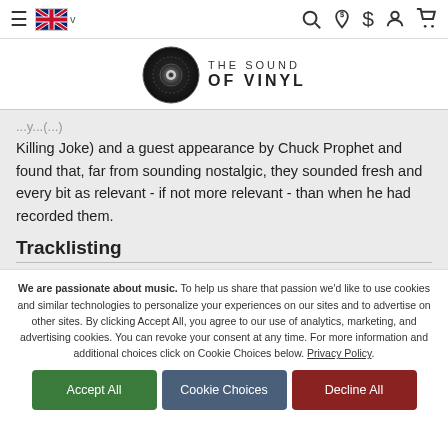Navigation bar with hamburger menu, UK flag, search, currency, account, and cart icons
[Figure (logo): The Sound of Vinyl logo - vinyl record icon with text 'THE SOUND OF VINYL']
Killing Joke) and a guest appearance by Chuck Prophet and found that, far from sounding nostalgic, they sounded fresh and every bit as relevant - if not more relevant - than when he had recorded them.
Tracklisting
We are passionate about music. To help us share that passion we'd like to use cookies and similar technologies to personalize your experiences on our sites and to advertise on other sites. By clicking Accept All, you agree to our use of analytics, marketing, and advertising cookies. You can revoke your consent at any time. For more information and additional choices click on Cookie Choices below. Privacy Policy.